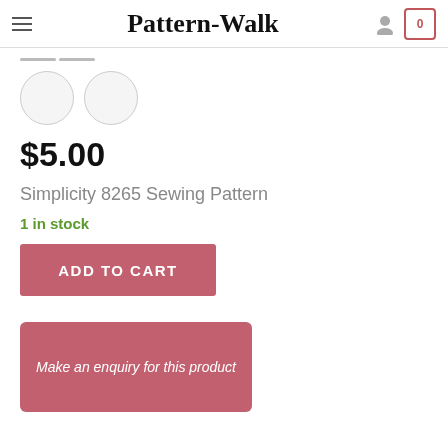Pattern-Walk
$5.00
Simplicity 8265 Sewing Pattern
1 in stock
ADD TO CART
Make an enquiry for this product